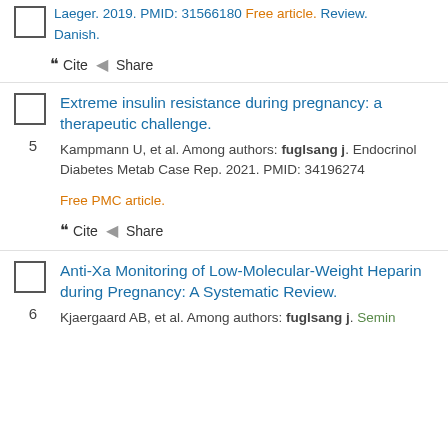☐  ...
Laeger. 2019. PMID: 31566180 Free article. Review. Danish.
❝ Cite  Share
5. Extreme insulin resistance during pregnancy: a therapeutic challenge. Kampmann U, et al. Among authors: fuglsang j. Endocrinol Diabetes Metab Case Rep. 2021. PMID: 34196274 Free PMC article.
❝ Cite  Share
6. Anti-Xa Monitoring of Low-Molecular-Weight Heparin during Pregnancy: A Systematic Review. Kjaergaard AB, et al. Among authors: fuglsang j. Semin